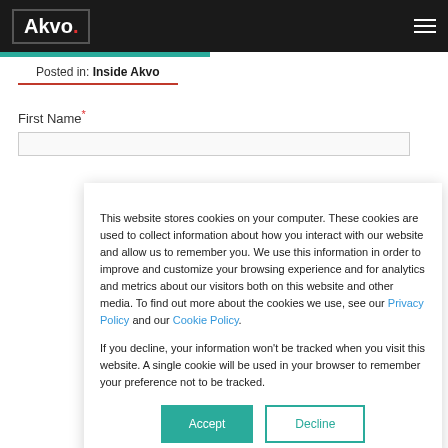Akvo.
Posted in: Inside Akvo
First Name*
This website stores cookies on your computer. These cookies are used to collect information about how you interact with our website and allow us to remember you. We use this information in order to improve and customize your browsing experience and for analytics and metrics about our visitors both on this website and other media. To find out more about the cookies we use, see our Privacy Policy and our Cookie Policy.

If you decline, your information won't be tracked when you visit this website. A single cookie will be used in your browser to remember your preference not to be tracked.
Accept
Decline